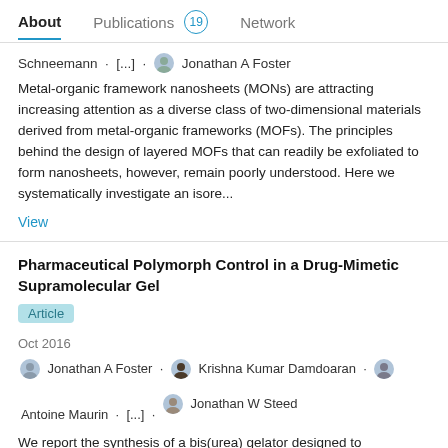About   Publications 19   Network
Schneemann · [...] · Jonathan A Foster
Metal-organic framework nanosheets (MONs) are attracting increasing attention as a diverse class of two-dimensional materials derived from metal-organic frameworks (MOFs). The principles behind the design of layered MOFs that can readily be exfoliated to form nanosheets, however, remain poorly understood. Here we systematically investigate an isore...
View
Pharmaceutical Polymorph Control in a Drug-Mimetic Supramolecular Gel
Article
Oct 2016
Jonathan A Foster · Krishna Kumar Damdoaran · Antoine Maurin · [...] · Jonathan W Steed
We report the synthesis of a bis(urea) gelator designed to specifically mimic the chemical structure of the highly